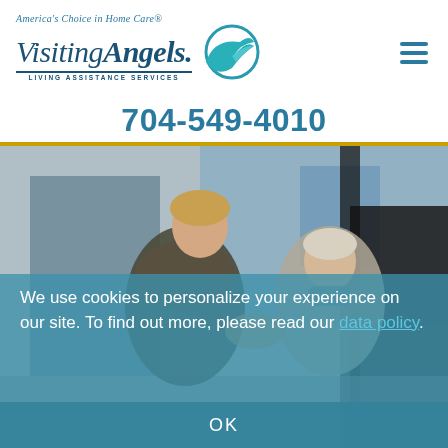[Figure (logo): Visiting Angels logo with bird icon, tagline 'America's Choice in Home Care' and subtitle 'LIVING ASSISTANCE SERVICES']
704-549-4010
[Figure (photo): A caregiver helping an elderly woman get into a car outdoors in winter]
We use cookies to personalize your experience on our site. To find out more, please read our data policy.
OK